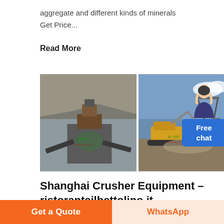aggregate and different kinds of minerals Get Price...
Read More
[Figure (photo): Two photos of heavy mining/crushing equipment in quarry settings. Left: a large vertical shaft impact crusher in a rocky quarry. Right: an excavator loading material near a large conveyor/screening structure. Both images have a watermark logo overlay.]
Shanghai Crusher Equipment - ristoranteilbettolino.it
Shanghai Road & Bridge Machinery Co., Ltd
Get a Quote  |  WhatsApp